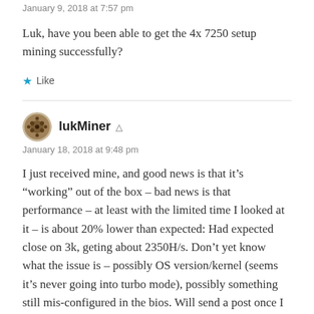January 9, 2018 at 7:57 pm
Luk, have you been able to get the 4x 7250 setup mining successfully?
★ Like
lukMiner
January 18, 2018 at 9:48 pm
I just received mine, and good news is that it’s “working” out of the box – bad news is that performance – at least with the limited time I looked at it – is about 20% lower than expected: Had expected close on 3k, geting about 2350H/s. Don’t yet know what the issue is – possibly OS version/kernel (seems it’s never going into turbo mode), possibly something still mis-configured in the bios. Will send a post once I know more....